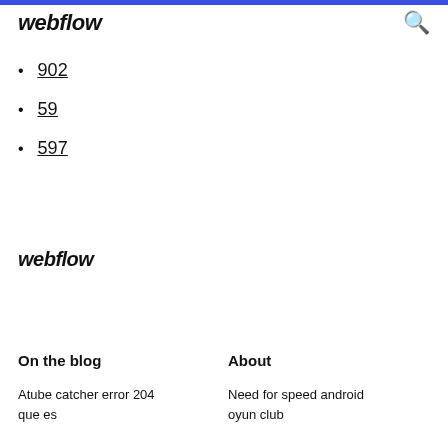webflow
902
59
597
webflow
On the blog
About
Atube catcher error 204 que es
Need for speed android oyun club